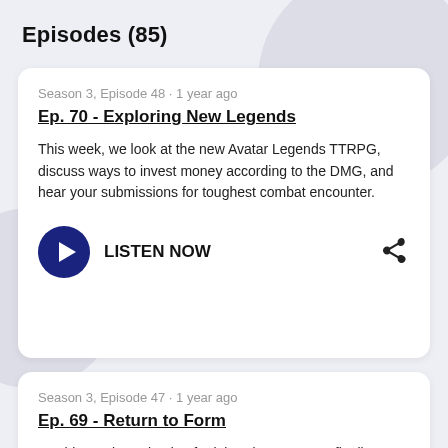Episodes (85)
Season 3, Episode 48 · 1 year ago
Ep. 70 - Exploring New Legends
This week, we look at the new Avatar Legends TTRPG, discuss ways to invest money according to the DMG, and hear your submissions for toughest combat encounter.
LISTEN NOW
Season 3, Episode 47 · 1 year ago
Ep. 69 - Return to Form
On this week's episode of Triple Advantage, we finally get around to discussing the first of our music inspired